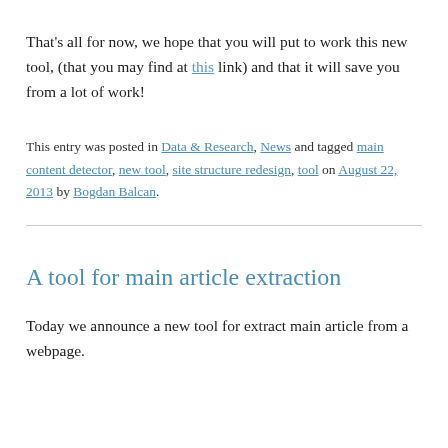That's all for now, we hope that you will put to work this new tool, (that you may find at this link) and that it will save you from a lot of work!
This entry was posted in Data & Research, News and tagged main content detector, new tool, site structure redesign, tool on August 22, 2013 by Bogdan Balcan.
A tool for main article extraction
Today we announce a new tool for extract main article from a webpage.